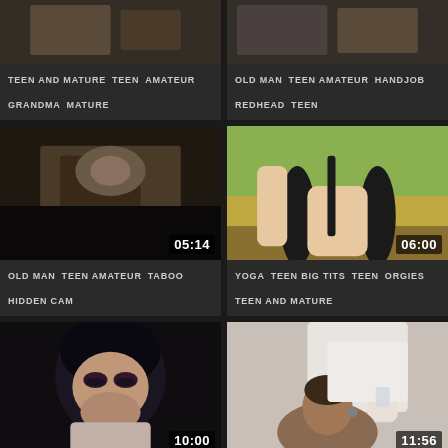[Figure (screenshot): Video thumbnail grid top-left (partial, cropped at top)]
TEEN AND MATURE   TEEN   AMATEUR   GRANDMA   MATURE
[Figure (screenshot): Video thumbnail grid top-right (partial, cropped at top)]
OLD MAN   TEEN AMATEUR   HANDJOB   REDHEAD   TEEN
[Figure (screenshot): Video thumbnail middle-left, duration 05:14]
OLD MAN   TEEN AMATEUR   TABOO   HIDDEN CAM
[Figure (screenshot): Video thumbnail middle-right, duration 06:00]
YOGA   TEEN BIG TITS   TEEN   ORGIES   TEEN AND MATURE
[Figure (screenshot): Video thumbnail bottom-left, duration 10:00]
TEEN BIG TITS   TEEN ORGIES   TEEN AND MATURE   TEEN
[Figure (screenshot): Video thumbnail bottom-right, duration 11:56]
OLD MAN   TEEN AND MATURE   TEEN AMATEUR   SOFTCORE